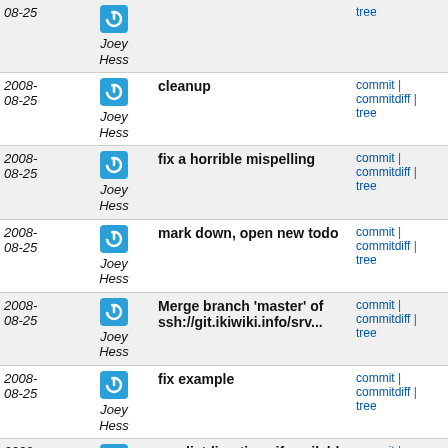| Date | Author | Message | Links |
| --- | --- | --- | --- |
| 2008-08-25 | Joey Hess | cleanup | commit | commitdiff | tree |
| 2008-08-25 | Joey Hess | fix a horrible mispelling | commit | commitdiff | tree |
| 2008-08-25 | Joey Hess | mark down, open new todo | commit | commitdiff | tree |
| 2008-08-25 | Joey Hess | Merge branch 'master' of ssh://git.ikiwiki.info/srv... | commit | commitdiff | tree |
| 2008-08-25 | Joey Hess | fix example | commit | commitdiff | tree |
| 2008-08-25 | Joey Hess | use listdirectives if available | commit | commitdiff | tree |
| 2008-08-25 | Joey Hess | update | commit | commitdiff | tree |
| 2008-08-25 | Joey Hess | update | commit | commitdiff | tree |
| 2008- | Joey Hess | rename preprocessordirective to | commit | commitdiff |